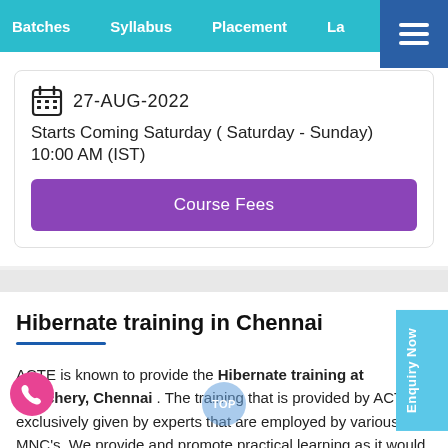Batches   Syllabus   Placement   La...
27-AUG-2022
Starts Coming Saturday ( Saturday - Sunday)
10:00 AM (IST)
Course Fees
Hibernate training in Chennai
ACTE is known to provide the Hibernate training at Velachery, Chennai . The training that is provided by ACTE exclusively given by experts that are employed by various MNC's. We provide and promote practical learning as it would be more effective and would help the candidates in the long